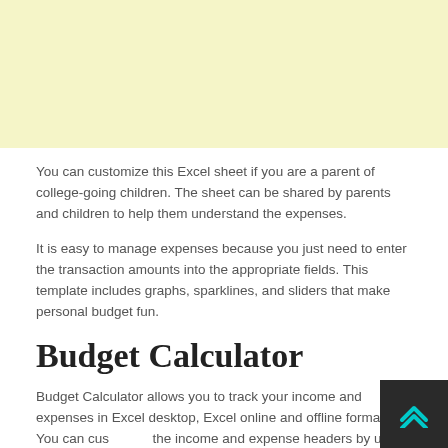[Figure (other): Yellow/cream colored banner image at the top of the page]
You can customize this Excel sheet if you are a parent of college-going children. The sheet can be shared by parents and children to help them understand the expenses.
It is easy to manage expenses because you just need to enter the transaction amounts into the appropriate fields. This template includes graphs, sparklines, and sliders that make personal budget fun.
Budget Calculator
Budget Calculator allows you to track your income and expenses in Excel desktop, Excel online and offline formats. You can customize the income and expense headers by using editable cells in the template. This can be used for budget planning for one